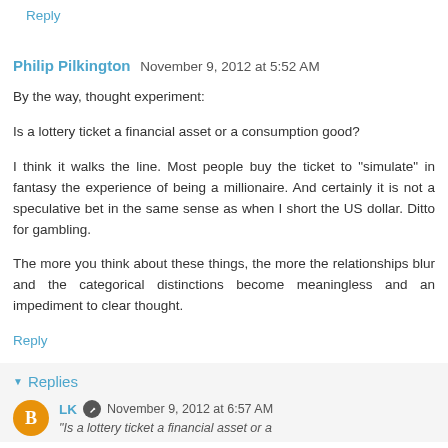Reply
Philip Pilkington   November 9, 2012 at 5:52 AM
By the way, thought experiment:

Is a lottery ticket a financial asset or a consumption good?

I think it walks the line. Most people buy the ticket to "simulate" in fantasy the experience of being a millionaire. And certainly it is not a speculative bet in the same sense as when I short the US dollar. Ditto for gambling.

The more you think about these things, the more the relationships blur and the categorical distinctions become meaningless and an impediment to clear thought.
Reply
Replies
LK   November 9, 2012 at 6:57 AM
"Is a lottery ticket a financial asset or a